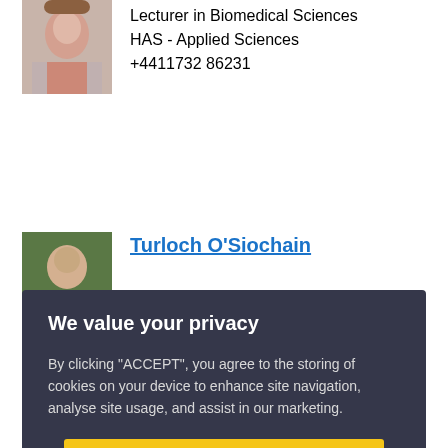[Figure (photo): Headshot photo of a woman with long brown hair wearing a light grey cardigan over a pink top]
Lecturer in Biomedical Sciences
HAS - Applied Sciences
+4411732 86231
[Figure (photo): Headshot photo of a young man outdoors with green foliage background]
Turloch O'Siochain
We value your privacy
By clicking "ACCEPT", you agree to the storing of cookies on your device to enhance site navigation, analyse site usage, and assist in our marketing.
ACCEPT
VIEW COOKIE SETTINGS
[Figure (photo): Partial headshot photo at bottom of page]
+4411732 86292